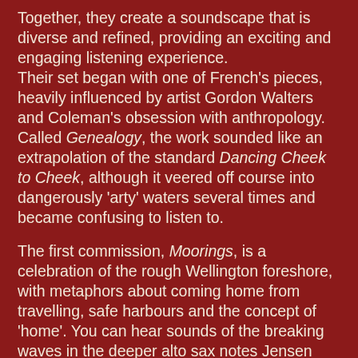Together, they create a soundscape that is diverse and refined, providing an exciting and engaging listening experience. Their set began with one of French's pieces, heavily influenced by artist Gordon Walters and Coleman's obsession with anthropology. Called Genealogy, the work sounded like an extrapolation of the standard Dancing Cheek to Cheek, although it veered off course into dangerously 'arty' waters several times and became confusing to listen to.
The first commission, Moorings, is a celebration of the rough Wellington foreshore, with metaphors about coming home from travelling, safe harbours and the concept of 'home'. You can hear sounds of the breaking waves in the deeper alto sax notes Jensen plays, and the squeaks from French's trumpet perfectly mimic seagulls soaring high across the windy, turbulent skies created by drummer Jim Doxas and bassist Adrian Vedady.
Doxas contributes his own beach themed piece called Rosemark Beach, a location in Scotland, with hints of